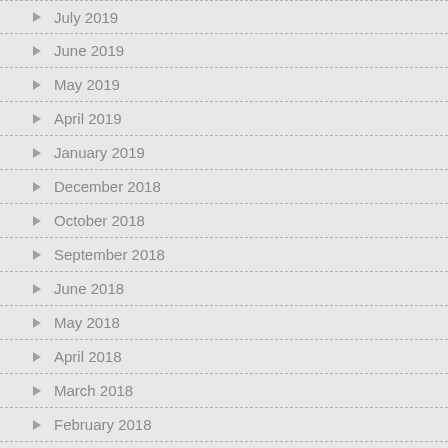July 2019
June 2019
May 2019
April 2019
January 2019
December 2018
October 2018
September 2018
June 2018
May 2018
April 2018
March 2018
February 2018
January 2018